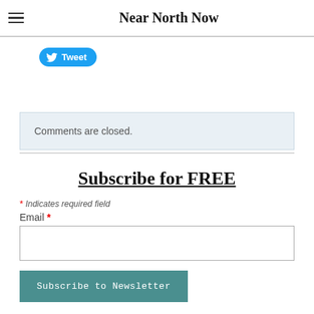Near North Now
[Figure (other): Twitter Tweet button (blue rounded button with bird icon and 'Tweet' text)]
Comments are closed.
Subscribe for FREE
* Indicates required field
Email *
[Figure (other): Email input text field (empty, white background with border)]
[Figure (other): Subscribe to Newsletter button (teal/green button)]